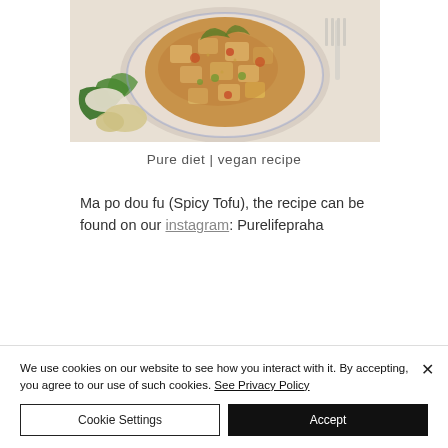[Figure (photo): Overhead photo of a bowl of Ma po dou fu (Spicy Tofu) with vegetables, alongside bok choy and ginger, with a fork visible on the right side.]
Pure diet | vegan recipe
Ma po dou fu (Spicy Tofu), the recipe can be found on our instagram: Purelifepraha
We use cookies on our website to see how you interact with it. By accepting, you agree to our use of such cookies. See Privacy Policy